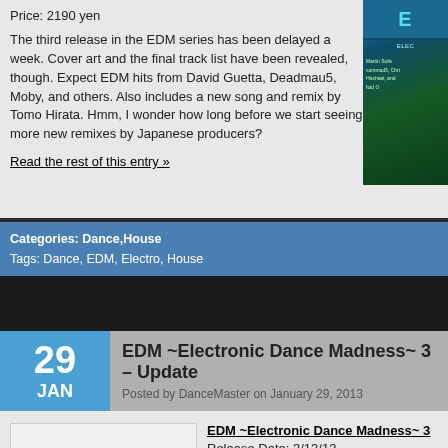Price: 2190 yen
The third release in the EDM series has been delayed a week. Cover art and the final track list have been revealed, though. Expect EDM hits from David Guetta, Deadmau5, Moby, and others. Also includes a new song and remix by Tomo Hirata. Hmm, I wonder how long before we start seeing more new remixes by Japanese producers?
Read the rest of this entry »
[Figure (photo): Album cover art for EDM Electronic Dance Madness compilation, showing blue and green electronic/neon design]
Categories: Dance,House
Tags: Dance, EDM, Electro, House
29 JAN
EDM ~Electronic Dance Madness~ 3 – Update
Posted by DanceMaster on January 29, 2013
[Figure (photo): Album thumbnail showing EDM logo in gold/yellow italic lettering]
EDM ~Electronic Dance Madness~ 3
Release Date: 3/13/13
Price: 2190 yen
More tracks revealed for this third entry in the EDM
Read the rest of this entry »